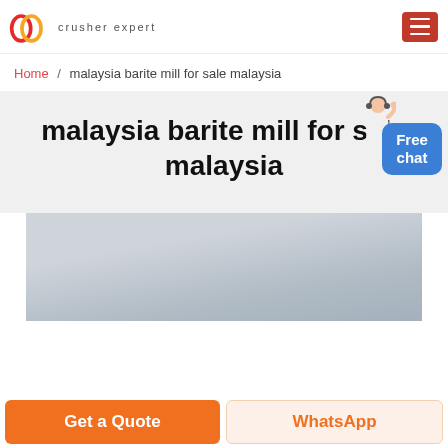crusher expert — [logo] [hamburger menu]
Home / malaysia barite mill for sale malaysia
malaysia barite mill for sale malaysia
[Figure (photo): Industrial interior photo showing ceiling with a blue/dark pipe or cylindrical machine component in the foreground]
Get a Quote
WhatsApp